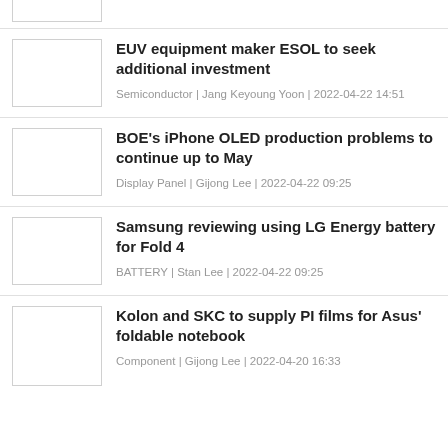EUV equipment maker ESOL to seek additional investment
Semiconductor | Jang Keyoung Yoon | 2022-04-22 14:51
BOE's iPhone OLED production problems to continue up to May
Display Panel | Gijong Lee | 2022-04-22 09:25
Samsung reviewing using LG Energy battery for Fold 4
BATTERY | Stan Lee | 2022-04-22 09:25
Kolon and SKC to supply PI films for Asus' foldable notebook
Component | Gijong Lee | 2022-04-20 16:33